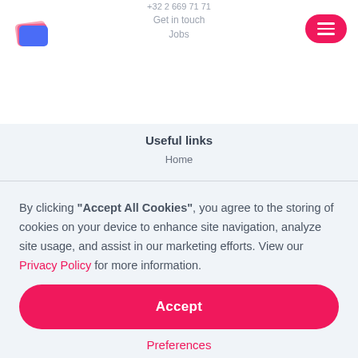[Figure (logo): Colorful layered folder logo with pink and blue overlapping shapes]
+32 2 669 71 71
Get in touch
Jobs
Useful links
Home
By clicking “Accept All Cookies”, you agree to the storing of cookies on your device to enhance site navigation, analyze site usage, and assist in our marketing efforts. View our Privacy Policy for more information.
Accept
Preferences